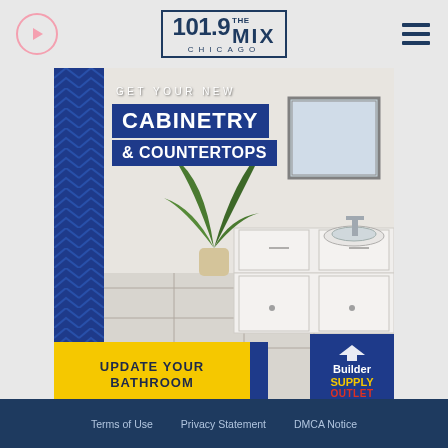101.9 THE MIX CHICAGO
[Figure (advertisement): Builder Supply Outlet ad: bathroom with white cabinetry and countertops. Text: GET YOUR NEW CABINETRY & COUNTERTOPS, UPDATE YOUR BATHROOM. Builder Supply Outlet logo with blue and yellow branding.]
[Figure (advertisement): Ravinia 2022 ad on green background. Text: TICKETS ON SALE NOW! MORE INFO button.]
Terms of Use   Privacy Statement   DMCA Notice